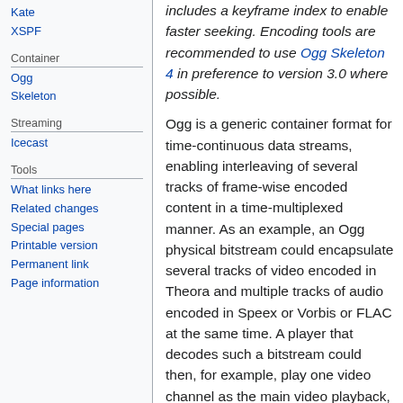Kate
XSPF
Container
Ogg Skeleton
Streaming
Icecast
Tools
What links here
Related changes
Special pages
Printable version
Permanent link
Page information
includes a keyframe index to enable faster seeking. Encoding tools are recommended to use Ogg Skeleton 4 in preference to version 3.0 where possible.
Ogg is a generic container format for time-continuous data streams, enabling interleaving of several tracks of frame-wise encoded content in a time-multiplexed manner. As an example, an Ogg physical bitstream could encapsulate several tracks of video encoded in Theora and multiple tracks of audio encoded in Speex or Vorbis or FLAC at the same time. A player that decodes such a bitstream could then, for example, play one video channel as the main video playback, alpha-blend another one on top of it (e.g. a caption track), play a main Vorbis audio together